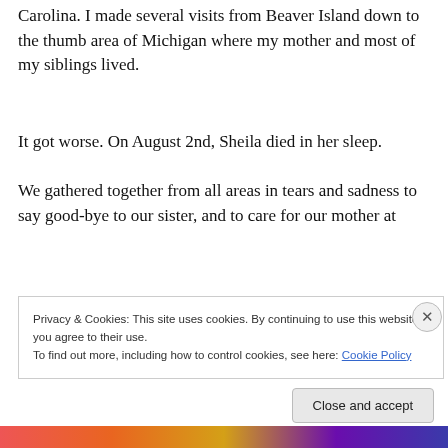Carolina. I made several visits from Beaver Island down to the thumb area of Michigan where my mother and most of my siblings lived.
It got worse. On August 2nd, Sheila died in her sleep.
We gathered together from all areas in tears and sadness to say good-bye to our sister, and to care for our mother at
Privacy & Cookies: This site uses cookies. By continuing to use this website, you agree to their use.
To find out more, including how to control cookies, see here: Cookie Policy